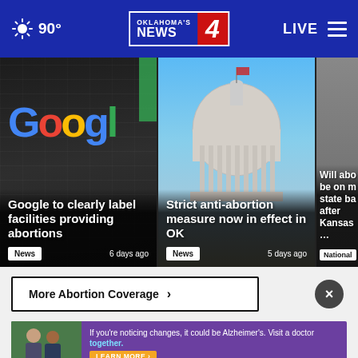90° | Oklahoma's News 4 | LIVE
[Figure (screenshot): News card: Google building with Google logo. Headline: Google to clearly label facilities providing abortions. Tag: News. Time: 6 days ago]
[Figure (screenshot): News card: Oklahoma State Capitol dome against blue sky. Headline: Strict anti-abortion measure now in effect in OK. Tag: News. Time: 5 days ago]
[Figure (screenshot): Partial news card showing partial headline: Will abo... be on m... state ba... after Kansas... Tag: National]
More Abortion Coverage ›
[Figure (photo): Advertisement banner: Two men outdoors. Text: If you're noticing changes, it could be Alzheimer's. Visit a doctor together. LEARN MORE button.]
JAN 6 INVESTIGATION ›